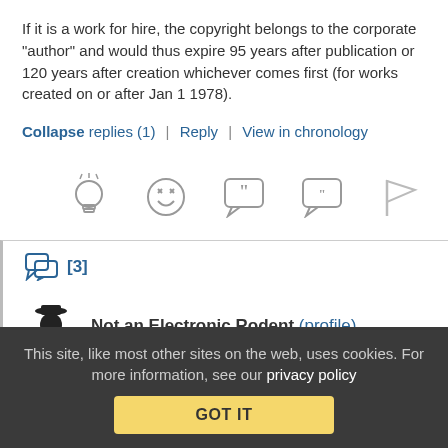If it is a work for hire, the copyright belongs to the corporate “author” and would thus expire 95 years after publication or 120 years after creation whichever comes first (for works created on or after Jan 1 1978).
Collapse replies (1) | Reply | View in chronology
[Figure (infographic): Row of five icon buttons: lightbulb, laughing face, speech bubble with quotation marks, speech bubble with quotation marks (smaller), and a flag icon.]
[3]
Not an Electronic Rodent (profile)
This site, like most other sites on the web, uses cookies. For more information, see our privacy policy
GOT IT